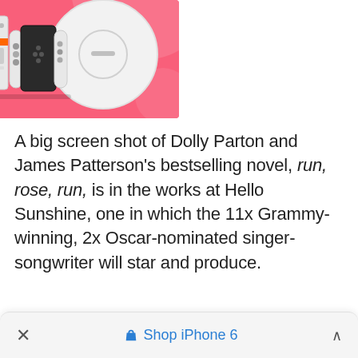[Figure (illustration): Pink background promotional image showing electronic products: a white robot vacuum cleaner disc, a white/grey gaming console with orange stripe, and a black Nintendo Switch-style gamepad with white Joy-Con controllers.]
A big screen shot of Dolly Parton and James Patterson's bestselling novel, run, rose, run, is in the works at Hello Sunshine, one in which the 11x Grammy-winning, 2x Oscar-nominated singer-songwriter will star and produce.
× Shop iPhone 6 ^